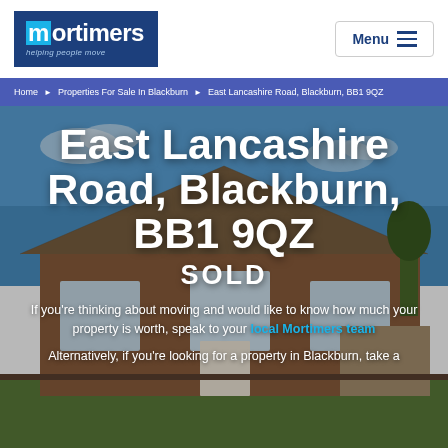[Figure (logo): Mortimers estate agency logo — white text on dark blue background with cyan M highlight, tagline 'helping people move']
Menu
Home > Properties For Sale In Blackburn > East Lancashire Road, Blackburn, BB1 9QZ
[Figure (photo): Exterior photo of a detached brick bungalow with tiled roof, bay windows, and blue sky background]
East Lancashire Road, Blackburn, BB1 9QZ
SOLD
If you're thinking about moving and would like to know how much your property is worth, speak to your local Mortimers team
Alternatively, if you're looking for a property in Blackburn, take a